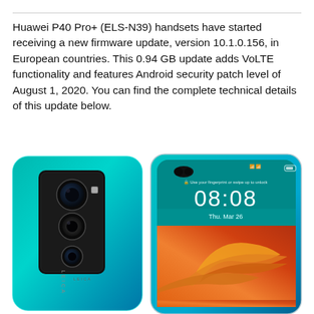Huawei P40 Pro+ (ELS-N39) handsets have started receiving a new firmware update, version 10.1.0.156, in European countries. This 0.94 GB update adds VoLTE functionality and features Android security patch level of August 1, 2020. You can find the complete technical details of this update below.
[Figure (photo): Photo of Huawei P40 Pro+ smartphone showing both the back (teal/blue gradient with Leica quad camera module) and front (lock screen showing 08:08, Thu, Mar 26, with teal background and colorful wallpaper).]